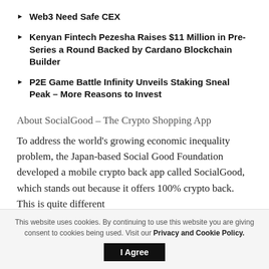Web3 Need Safe CEX
Kenyan Fintech Pezesha Raises $11 Million in Pre-Series a Round Backed by Cardano Blockchain Builder
P2E Game Battle Infinity Unveils Staking Sneal Peak – More Reasons to Invest
About SocialGood – The Crypto Shopping App
To address the world's growing economic inequality problem, the Japan-based Social Good Foundation developed a mobile crypto back app called SocialGood, which stands out because it offers 100% crypto back. This is quite different
This website uses cookies. By continuing to use this website you are giving consent to cookies being used. Visit our Privacy and Cookie Policy. I Agree